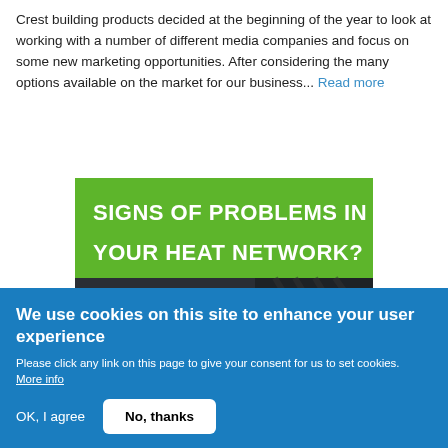Crest building products decided at the beginning of the year to look at working with a number of different media companies and focus on some new marketing opportunities. After considering the many options available on the market for our business... Read more
[Figure (infographic): Green and dark banner image with text: SIGNS OF PROBLEMS IN YOUR HEAT NETWORK? Unreliable network = Unhappy tenants. Inefficient network = High energy use.]
We use cookies on this site to enhance your user experience
Please click any link on this page to give your consent for us to set cookies. More info
OK, I agree | No, thanks